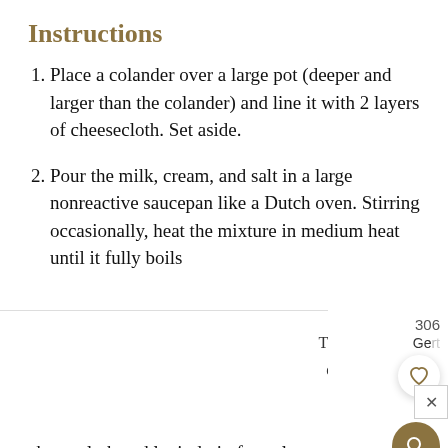Instructions
Place a colander over a large pot (deeper and larger than the colander) and line it with 2 layers of cheesecloth. Set aside.
Pour the milk, cream, and salt in a large nonreactive saucepan like a Dutch oven. Stirring occasionally, heat the mixture in medium heat until it fully boils
This website uses cookies to improve your experience, you can opt-out if you wish.
ACCEPT   Cookie Settings
306
Get...
cheesecloth and let it drain for at least an hour (or more like 2 hours). The longer you strain the thicker it will get. I like mine after an hour.